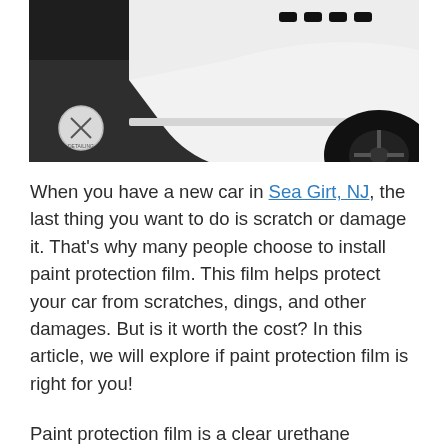[Figure (photo): Close-up photo of the lower side panel and wheel area of a white car, parked on a dark speckled floor. A circular logo watermark is visible in the lower left of the image.]
When you have a new car in Sea Girt, NJ, the last thing you want to do is scratch or damage it. That's why many people choose to install paint protection film. This film helps protect your car from scratches, dings, and other damages. But is it worth the cost? In this article, we will explore if paint protection film is right for you!
Paint protection film is a clear urethane material